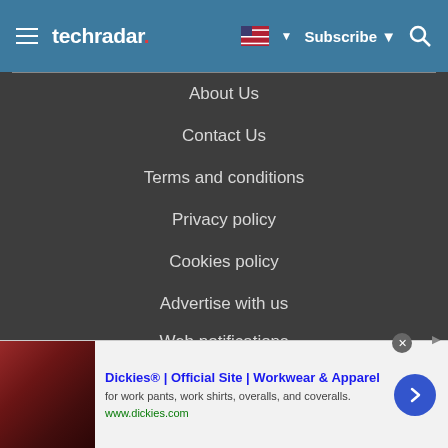techradar
About Us
Contact Us
Terms and conditions
Privacy policy
Cookies policy
Advertise with us
Web notifications
[Figure (screenshot): Advertisement banner for Dickies Official Site - Workwear & Apparel with product image, title, subtitle and arrow button]